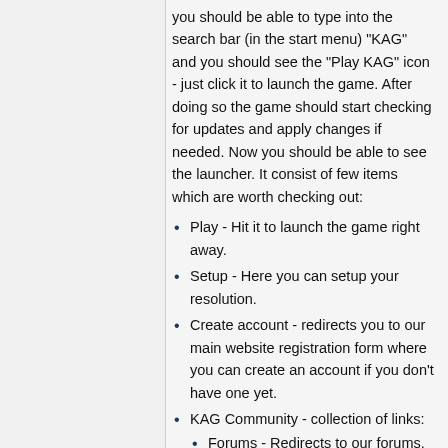you should be able to type into the search bar (in the start menu) "KAG" and you should see the "Play KAG" icon - just click it to launch the game. After doing so the game should start checking for updates and apply changes if needed. Now you should be able to see the launcher. It consist of few items which are worth checking out:
Play - Hit it to launch the game right away.
Setup - Here you can setup your resolution.
Create account - redirects you to our main website registration form where you can create an account if you don't have one yet.
KAG Community - collection of links:
Forums - Redirects to our forums. It's really nice source of